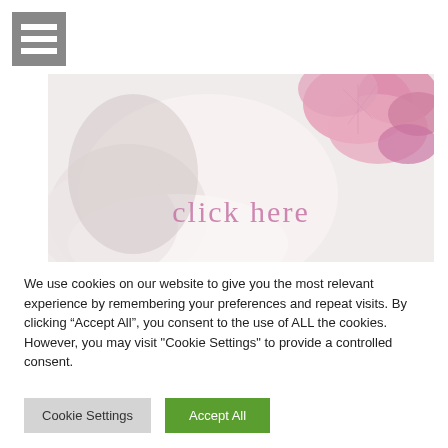[Figure (other): Hamburger menu icon — three white horizontal bars on a grey square background]
[Figure (photo): Close-up photo of soft pink flowers (chrysanthemums) on a white background with 'click here' text overlay in pink]
We use cookies on our website to give you the most relevant experience by remembering your preferences and repeat visits. By clicking “Accept All”, you consent to the use of ALL the cookies. However, you may visit "Cookie Settings" to provide a controlled consent.
Cookie Settings
Accept All